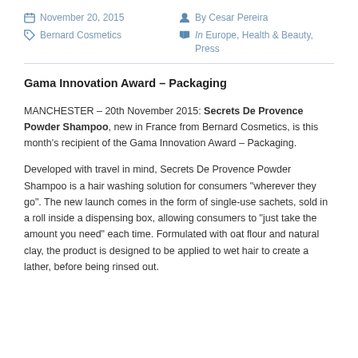November 20, 2015   By Cesar Pereira   Bernard Cosmetics   In Europe, Health & Beauty, Press
Gama Innovation Award – Packaging
MANCHESTER – 20th November 2015: Secrets De Provence Powder Shampoo, new in France from Bernard Cosmetics, is this month's recipient of the Gama Innovation Award – Packaging.
Developed with travel in mind, Secrets De Provence Powder Shampoo is a hair washing solution for consumers "wherever they go". The new launch comes in the form of single-use sachets, sold in a roll inside a dispensing box, allowing consumers to "just take the amount you need" each time. Formulated with oat flour and natural clay, the product is designed to be applied to wet hair to create a lather, before being rinsed out.